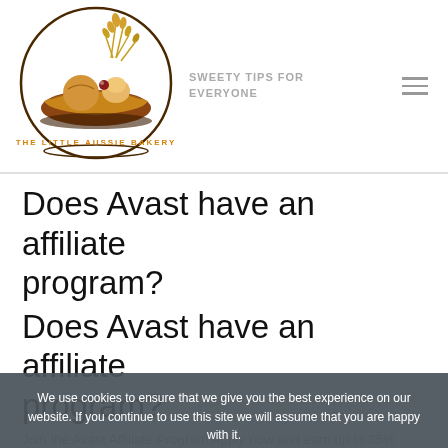[Figure (logo): The Little Aussie Bakery circular logo with wheat stalks, bread, and pastries illustration]
SWEETY TIPS FOR EVERYONE
Does Avast have an affiliate program?
Does Avast have an affiliate program?
Join the Avast Affiliate Program Apply now and earn up to 35% commission on all Avast product sales.
Which antivirus software is freely available?
We use cookies to ensure that we give you the best experience on our website. If you continue to use this site we will assume that you are happy with it.